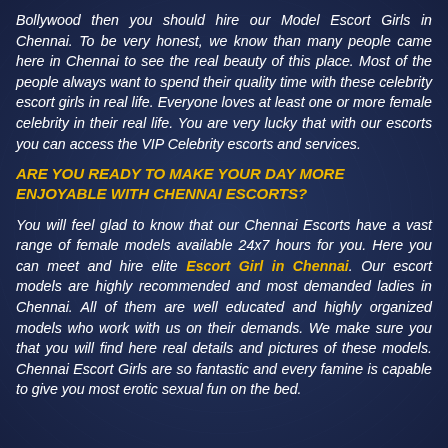Bollywood then you should hire our Model Escort Girls in Chennai. To be very honest, we know than many people came here in Chennai to see the real beauty of this place. Most of the people always want to spend their quality time with these celebrity escort girls in real life. Everyone loves at least one or more female celebrity in their real life. You are very lucky that with our escorts you can access the VIP Celebrity escorts and services.
ARE YOU READY TO MAKE YOUR DAY MORE ENJOYABLE WITH CHENNAI ESCORTS?
You will feel glad to know that our Chennai Escorts have a vast range of female models available 24x7 hours for you. Here you can meet and hire elite Escort Girl in Chennai. Our escort models are highly recommended and most demanded ladies in Chennai. All of them are well educated and highly organized models who work with us on their demands. We make sure you that you will find here real details and pictures of these models. Chennai Escort Girls are so fantastic and every famine is capable to give you most erotic sexual fun on the bed.